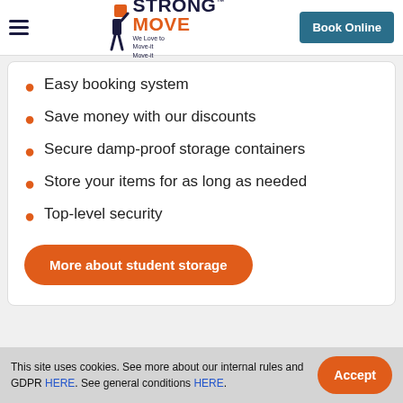Strong Move — We Love to Move-it Move-it
Easy booking system
Save money with our discounts
Secure damp-proof storage containers
Store your items for as long as needed
Top-level security
More about student storage
This site uses cookies. See more about our internal rules and GDPR HERE. See general conditions HERE.